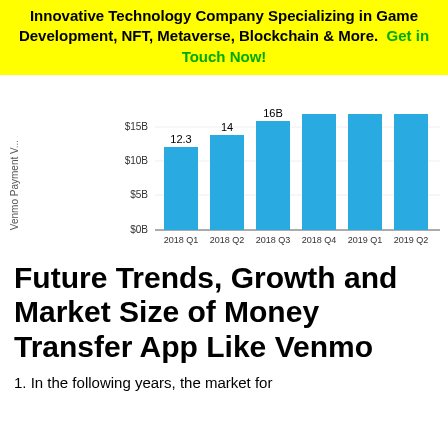Innovative Technology Company Specializing in Game Development, NFT, Metaverse, Blockchain & More. Get in Touch Now!
[Figure (bar-chart): Venmo Payment Volume]
Future Trends, Growth and Market Size of Money Transfer App Like Venmo
1. In the following years, the market for